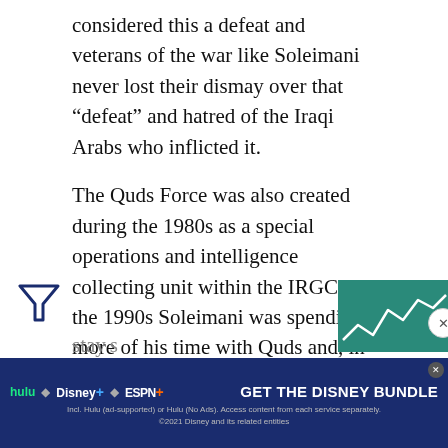considered this a defeat and veterans of the war like Soleimani never lost their dismay over that “defeat” and hatred of the Iraqi Arabs who inflicted it.
The Quds Force was also created during the 1980s as a special operations and intelligence collecting unit within the IRGC. By the 1990s Soleimani was spending more of his time with Quds and, in the late 1990s, he became its commander. This meant he reported directly to the senior clerics who ruled Iran. Soleimani proved very effective at organizing non-Iranian groups to attack American or Israeli targets overseas. Eventually Quds operatives identified as behind these attacks and soon Soleimani’s name became well known to Israeli and Western intelligence agencies. Soleimani tried to stay... agencies...
[Figure (other): Disney bundle advertisement banner at bottom of page: Hulu, Disney+, ESPN+ logos and GET THE DISNEY BUNDLE call to action]